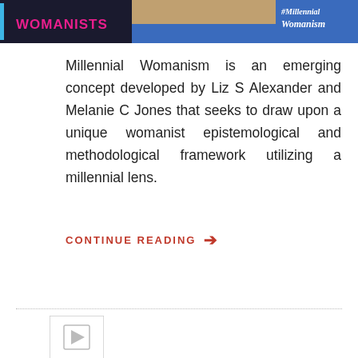[Figure (screenshot): Top banner image showing a podcast/video thumbnail with text 'WOMANISTS' in pink and '#Millennial Womanism' on a blue background, with a person visible]
Millennial Womanism is an emerging concept developed by Liz S Alexander and Melanie C Jones that seeks to draw upon a unique womanist epistemological and methodological framework utilizing a millennial lens.
CONTINUE READING →
[Figure (screenshot): Small video thumbnail placeholder with play button icon]
August 30, 2018  BTL Admin  Leave a comment  Interviews
Womanists Taught Us: Episode 3 – Rev. Dr